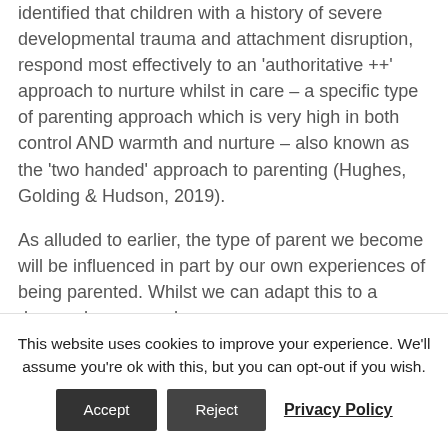identified that children with a history of severe developmental trauma and attachment disruption, respond most effectively to an 'authoritative ++' approach to nurture whilst in care – a specific type of parenting approach which is very high in both control AND warmth and nurture – also known as the 'two handed' approach to parenting (Hughes, Golding & Hudson, 2019).
As alluded to earlier, the type of parent we become will be influenced in part by our own experiences of being parented. Whilst we can adapt this to a degree, however, when we are
This website uses cookies to improve your experience. We'll assume you're ok with this, but you can opt-out if you wish.